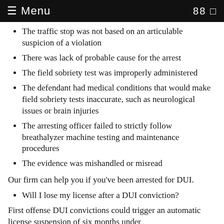☰ Menu  88 □
The traffic stop was not based on an articulable suspicion of a violation
There was lack of probable cause for the arrest
The field sobriety test was improperly administered
The defendant had medical conditions that would make field sobriety tests inaccurate, such as neurological issues or brain injuries
The arresting officer failed to strictly follow breathalyzer machine testing and maintenance procedures
The evidence was mishandled or misread
Our firm can help you if you've been arrested for DUI.
Will I lose my license after a DUI conviction?
First offense DUI convictions could trigger an automatic license suspension of six months under